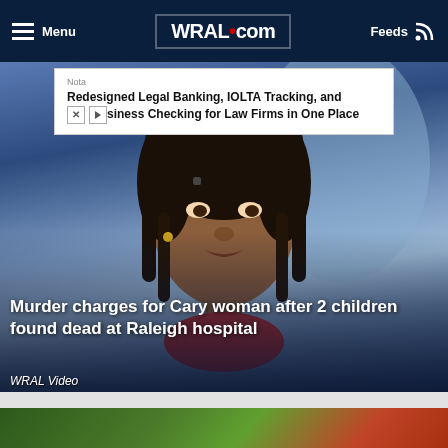Menu | WRAL.com | Feeds
[Figure (illustration): Advertisement banner: 'Nota - Redesigned Legal Banking, IOLTA Tracking, and Business Checking for Law Firms in One Place']
[Figure (photo): Mugshot of a Black woman with braided hair against a blue background; article photo for murder charges story]
Murder charges for Cary woman after 2 children found dead at Raleigh hospital
WRAL Video
[Figure (photo): Partial view of a second news article image showing a green and orange background, partially cut off at bottom of page]